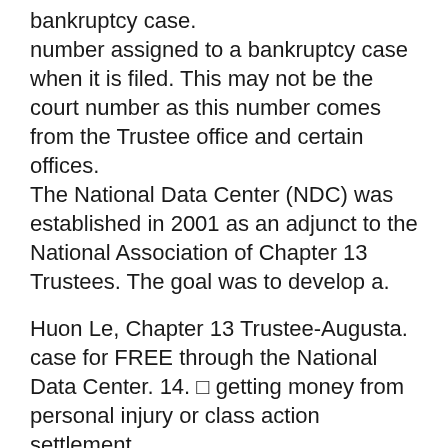bankruptcy case.
number assigned to a bankruptcy case when it is filed. This may not be the court number as this number comes from the Trustee office and certain offices.
The National Data Center (NDC) was established in 2001 as an adjunct to the National Association of Chapter 13 Trustees. The goal was to develop a.
Huon Le, Chapter 13 Trustee-Augusta. case for FREE through the National Data Center. 14. □ getting money from personal injury or class action settlement.
You should then contact your attorney immediately to discuss your options. Page 14. Important Information About Your Bankruptcy Case 05/27/2011. Page 8.